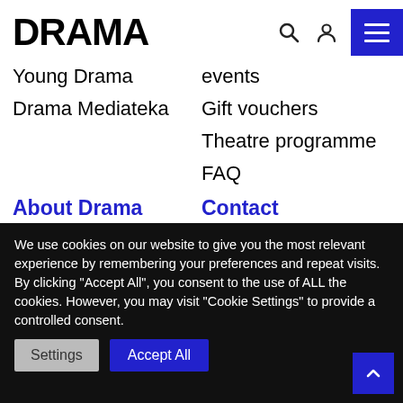DRAMA
Young Drama
Drama Mediateka
events
Gift vouchers
Theatre programme
FAQ
About Drama
Info card
Contact
01 252 14 62
We use cookies on our website to give you the most relevant experience by remembering your preferences and repeat visits. By clicking "Accept All", you consent to the use of ALL the cookies. However, you may visit "Cookie Settings" to provide a controlled consent.